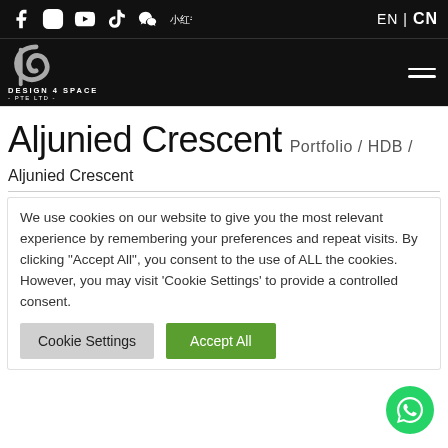Social icons: Facebook, Instagram, YouTube, TikTok, WeChat, Xiaohongshu | EN | CN
[Figure (logo): Design 4 Space Pte Ltd logo — stylized curved D letter in grey on black background]
Aljunied Crescent
Portfolio / HDB /
Aljunied Crescent
We use cookies on our website to give you the most relevant experience by remembering your preferences and repeat visits. By clicking "Accept All", you consent to the use of ALL the cookies. However, you may visit 'Cookie Settings' to provide a controlled consent.
Cookie Settings | Accept All